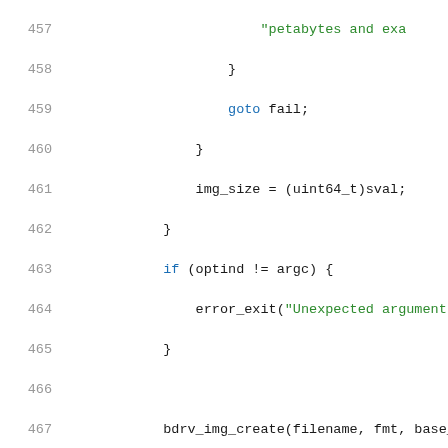[Figure (screenshot): Source code listing in C, lines 457-478, showing image creation logic with syntax highlighting: line numbers in gray, keywords in blue, string literals in green, regular code in dark/black.]